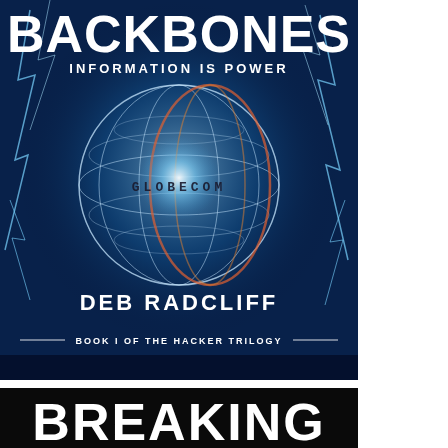[Figure (illustration): Book cover for 'Backbones: Information is Power' by Deb Radcliff. Book 1 of The Hacker Trilogy. Features a glowing blue globe with grid lines labeled 'GLOBECOM' and electric lightning effects on a dark blue background.]
[Figure (illustration): Partial book cover showing the word 'BREAKING' in large white bold text on a black background — the second book in The Hacker Trilogy by Deb Radcliff.]